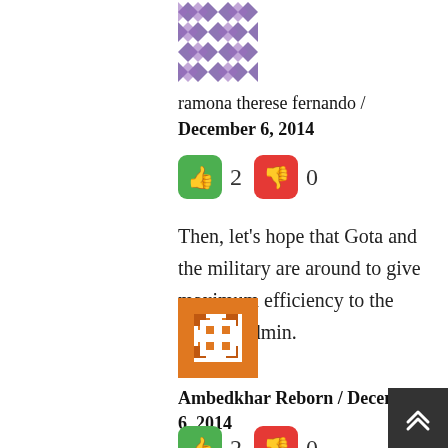[Figure (illustration): Purple geometric/diamond pattern avatar for ramona therese fernando]
ramona therese fernando / December 6, 2014
[Figure (infographic): Green thumbs-up icon (2 votes) and red thumbs-down icon (0 votes)]
Then, let’s hope that Gota and the military are around to give maximum efficiency to the smaller admin.
[Figure (illustration): Orange geometric/pixel pattern avatar for Ambedkhar Reborn]
Ambedkhar Reborn / December 6, 2014
[Figure (infographic): Green thumbs-up icon (2 votes) and red thumbs-down icon (0 votes)]
Good analysis. But..but. Who said that Ma Ra will be, for now? Mr Rajapaksa is a really...